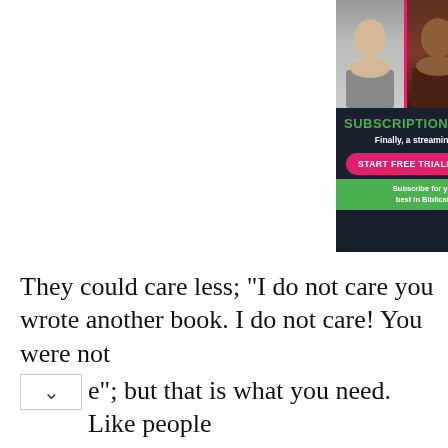[Figure (illustration): Advertisement for 'Inspiration On Demand' streaming service. Dark navy background with four male Christian speakers/pastors in a photo strip at top divided by pink and green diagonal lines. Bold green and white text reads 'SUBSCRIPTION WITH A MISSION! Finally, a streaming service with REAL Purpose!' A pink rounded button says 'START FREE TRIAL!' with 'inspiration | on demand' branding. Green footer bar reads 'Subscribe for yourself and gift access to the best in Biblical Teaching to a new believer!']
They could care less; “I do not care you wrote another book. I do not care! You were not …”; but that is what you need. Like people